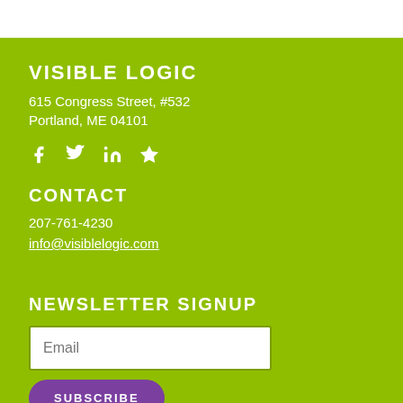VISIBLE LOGIC
615 Congress Street, #532
Portland, ME 04101
[Figure (other): Social media icons: Facebook, Twitter, LinkedIn, Star/Yelp]
CONTACT
207-761-4230
info@visiblelogic.com
NEWSLETTER SIGNUP
Email
SUBSCRIBE